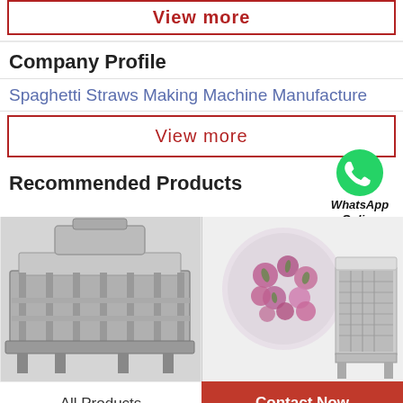View more
Company Profile
Spaghetti Straws Making Machine Manufacture
View more
Recommended Products
[Figure (photo): Industrial conveyor/dryer machine - large metallic industrial machine on the left]
[Figure (photo): Dried rose buds (flowers) and industrial microwave drying machine on the right]
[Figure (logo): WhatsApp green phone icon with text 'WhatsApp Online']
All Products
Contact Now